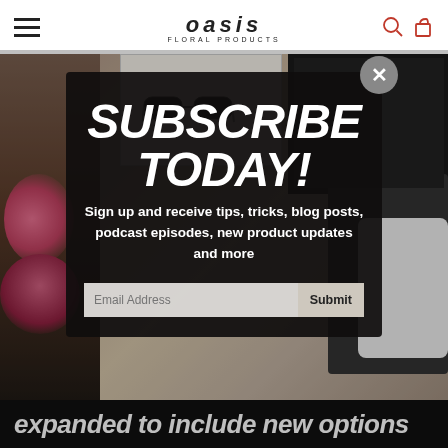OASIS FLORAL PRODUCTS
[Figure (screenshot): Website screenshot showing Oasis Floral Products page with a subscription modal popup overlay on a desk/flowers background photo]
SUBSCRIBE TODAY!
Sign up and receive tips, tricks, blog posts, podcast episodes, new product updates and more
Email Address  Submit
expanded to include new options